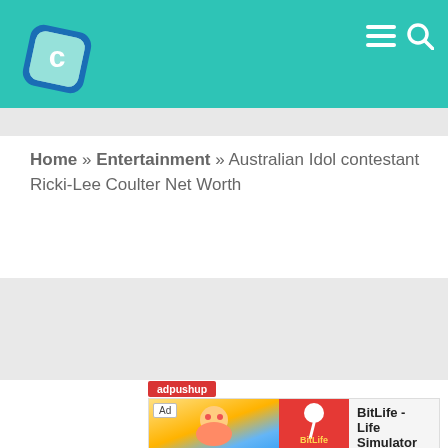[Figure (logo): CelebrityPosts logo - a blue/white diamond-shaped icon with letter C]
Home » Entertainment » Australian Idol contestant Ricki-Lee Coulter Net Worth
[Figure (screenshot): adpushup advertisement banner for BitLife - Life Simulator with Install button]